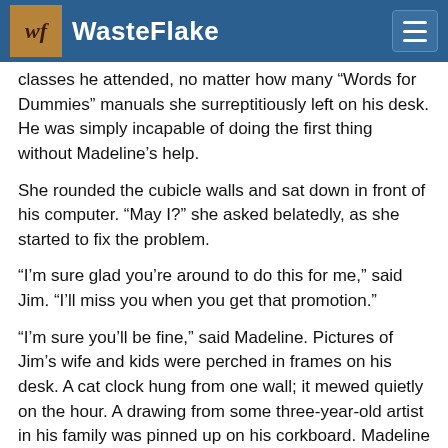WasteFlake
classes he attended, no matter how many “Words for Dummies” manuals she surreptitiously left on his desk. He was simply incapable of doing the first thing without Madeline’s help.
She rounded the cubicle walls and sat down in front of his computer. “May I?” she asked belatedly, as she started to fix the problem.
“I’m sure glad you’re around to do this for me,” said Jim. “I’ll miss you when you get that promotion.”
“I’m sure you’ll be fine,” said Madeline. Pictures of Jim’s wife and kids were perched in frames on his desk. A cat clock hung from one wall; it mewed quietly on the hour. A drawing from some three-year-old artist in his family was pinned up on his corkboard. Madeline sniffed. “New art?” she said.
“Yes,” said Jim. “My daughter’s drawing of the dog.”
“Ummm. That should do it.” She stood and went back to her